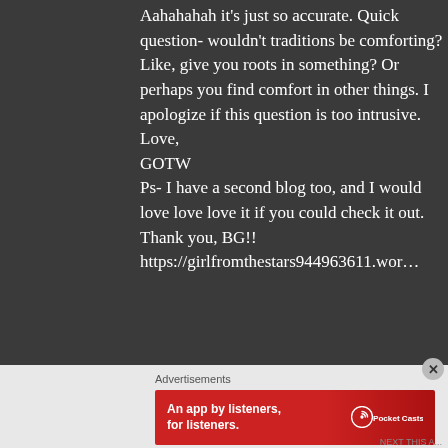Aahahahah it's just so accurate. Quick question- wouldn't traditions be comforting? Like, give you roots in something? Or perhaps you find comfort in other things. I apologize if this question is too intrusive. Love, GOTW Ps- I have a second blog too, and I would love love love it if you could check it out. Thank you, BG!! https://girlfromthestars944963611.wor
Advertisements
[Figure (infographic): Red advertisement banner for Pocket Casts app showing phone image and text 'An app by listeners, for listeners.' with Pocket Casts logo]